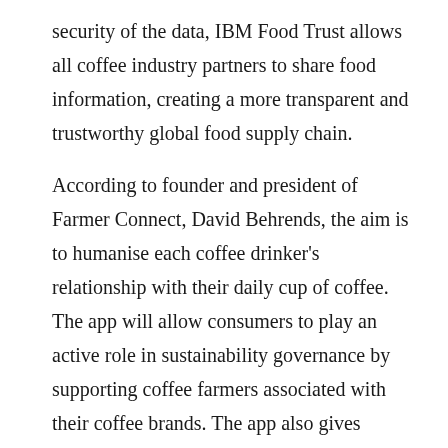security of the data, IBM Food Trust allows all coffee industry partners to share food information, creating a more transparent and trustworthy global food supply chain.
According to founder and president of Farmer Connect, David Behrends, the aim is to humanise each coffee drinker's relationship with their daily cup of coffee. The app will allow consumers to play an active role in sustainability governance by supporting coffee farmers associated with their coffee brands. The app also gives consumers an opportunity to donate funds directly to farmers around the world, or to help fund sustainability projects in the farmers' local